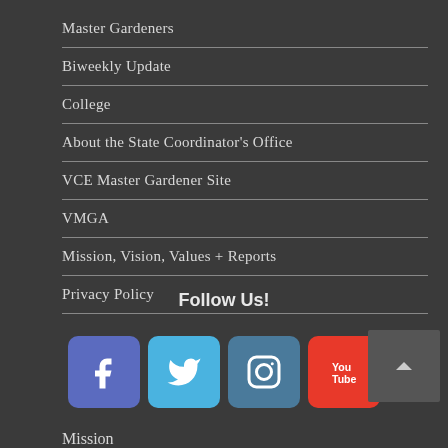Master Gardeners
Biweekly Update
College
About the State Coordinator's Office
VCE Master Gardener Site
VMGA
Mission, Vision, Values + Reports
Privacy Policy
Follow Us!
[Figure (other): Social media icons: Facebook, Twitter, Instagram, YouTube]
Mission